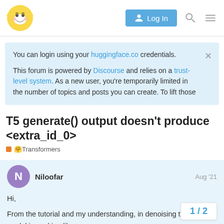Hugging Face Forum — Log In
You can login using your huggingface.co credentials.
This forum is powered by Discourse and relies on a trust-level system. As a new user, you're temporarily limited in the number of topics and posts you can create. To lift those
T5 generate() output doesn't produce <extra_id_0>
🤗Transformers
Niloofar — Aug '21
Hi,
From the tutorial and my understanding, in denoising training, the model is working lik
1 / 2